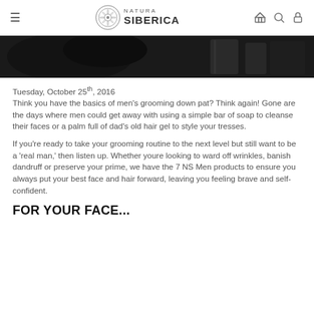NATURA SIBERICA
[Figure (photo): Dark product photo background, partial view of men's grooming products on dark surface]
Tuesday, October 25th, 2016
Think you have the basics of men's grooming down pat? Think again! Gone are the days where men could get away with using a simple bar of soap to cleanse their faces or a palm full of dad's old hair gel to style your tresses.
If you're ready to take your grooming routine to the next level but still want to be a 'real man,' then listen up. Whether youre looking to ward off wrinkles, banish dandruff or preserve your prime, we have the 7 NS Men products to ensure you always put your best face and hair forward, leaving you feeling brave and self-confident.
FOR YOUR FACE...